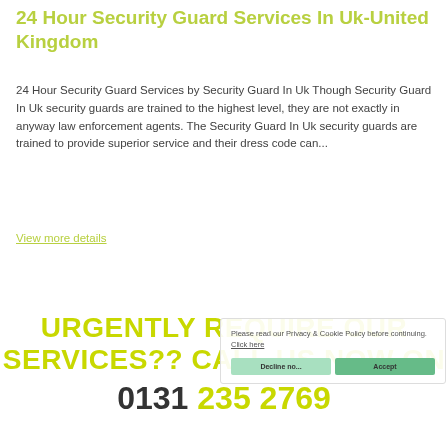24 Hour Security Guard Services In Uk-United Kingdom
24 Hour Security Guard Services by Security Guard In Uk Though Security Guard In Uk security guards are trained to the highest level, they are not exactly in anyway law enforcement agents. The Security Guard In Uk security guards are trained to provide superior service and their dress code can...
View more details
URGENTLY REQUIRE OUR SERVICES?? CALL US NOW ON 0131 235 2769